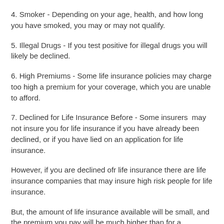4. Smoker - Depending on your age, health, and how long you have smoked, you may or may not qualify.
5. Illegal Drugs - If you test positive for illegal drugs you will likely be declined.
6. High Premiums - Some life insurance policies may charge too high a premium for your coverage, which you are unable to afford.
7. Declined for Life Insurance Before - Some insurers  may not insure you for life insurance if you have already been declined, or if you have lied on an application for life insurance.
However, if you are declined ofr life insurance there are life insurance companies that may insure high risk people for life insurance.
But, the amount of life insurance available will be small, and the premium you pay will be much higher than for a standard-rated applicant.